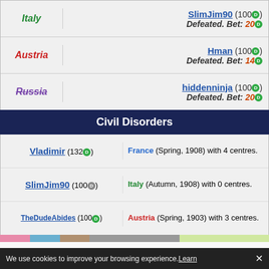| Country | Player / Result |
| --- | --- |
| Italy | SlimJim90 (100) Defeated. Bet: 20 |
| Austria | Hman (100) Defeated. Bet: 14 |
| Russia | hiddenninja (100) Defeated. Bet: 20 |
Civil Disorders
| Player | Civil Disorder Detail |
| --- | --- |
| Vladimir (132) | France (Spring, 1908) with 4 centres. |
| SlimJim90 (100) | Italy (Autumn, 1908) with 0 centres. |
| TheDudeAbides (100) | Austria (Spring, 1903) with 3 centres. |
View   Play Beta
Finished: Thu, 04:10 AM, 23 Sep 2010
Just a game-5
We use cookies to improve your browsing experience. Learn